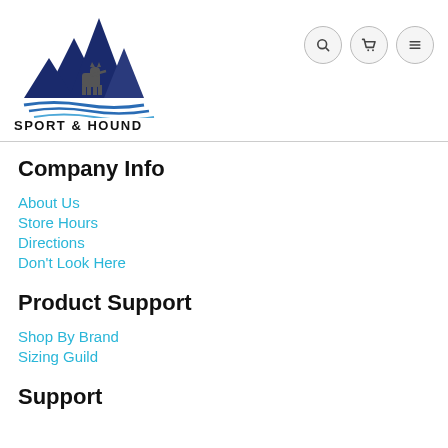[Figure (logo): Sport & Hound logo with mountain peaks, a dog silhouette, and blue wave lines beneath]
Company Info
About Us
Store Hours
Directions
Don't Look Here
Product Support
Shop By Brand
Sizing Guild
Support